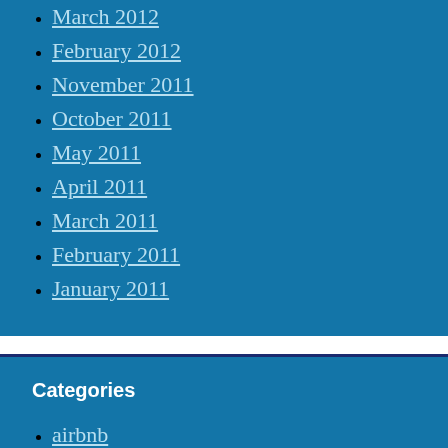March 2012
February 2012
November 2011
October 2011
May 2011
April 2011
March 2011
February 2011
January 2011
Categories
airbnb
artist